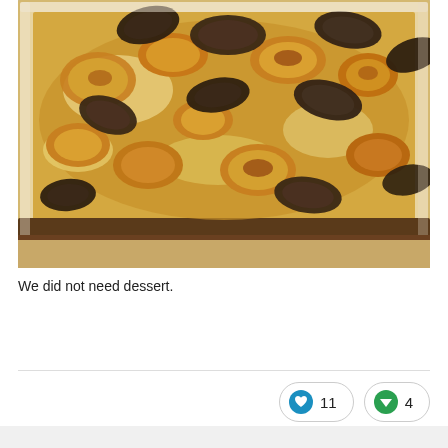[Figure (photo): A baking dish filled with golden-brown roasted potatoes and dark mushrooms, baked with cheese, photographed from above on a wooden surface.]
We did not need dessert.
[Figure (infographic): Reaction buttons: a heart/like icon with count 11, and a downvote/dislike icon with count 4.]